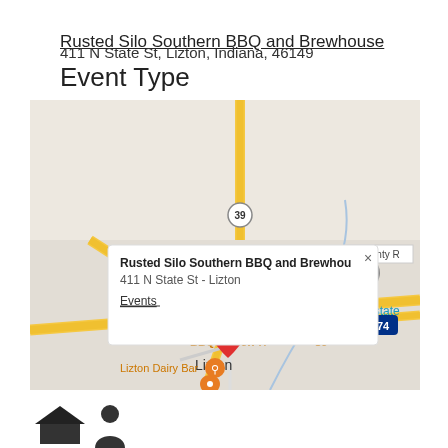Rusted Silo Southern BBQ and Brewhouse
411 N State St, Lizton, Indiana, 46149
Event Type
[Figure (map): Google Maps screenshot showing location of Rusted Silo Southern BBQ and Brewhouse at 411 N State St, Lizton, Indiana. A red map pin marks the location near the center of Lizton. A white popup card shows the business name in bold, address '411 N State St - Lizton', and an underlined 'Events' link. Nearby labels include 'Kennedy Estate', 'Lizton Dairy Bar', route 39, and route 74. A grey location pin is visible to the right.]
[Figure (illustration): Partial view of two dark silhouette icons at the bottom of the page.]